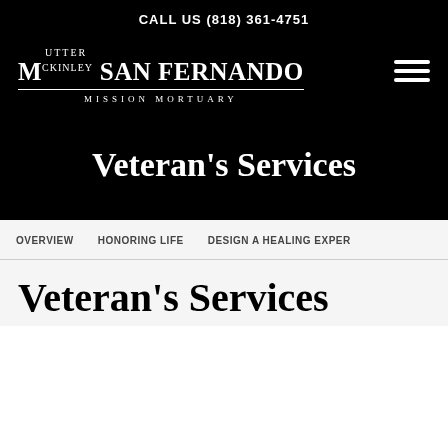CALL US (818) 361-4751
[Figure (logo): Utter McKinley San Fernando Mission Mortuary logo in white text on black background, with hamburger menu icon on right]
Veteran's Services
OVERVIEW   HONORING LIFE   DESIGN A HEALING EXPER
Veteran's Services